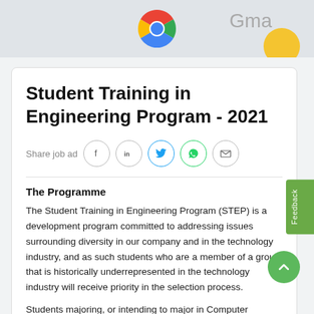[Figure (photo): Top banner showing Google Chrome logo in center, partial Gmail text on right, yellow circle partially visible at bottom right corner, grey background.]
Student Training in Engineering Program - 2021
Share job ad
The Programme
The Student Training in Engineering Program (STEP) is a development program committed to addressing issues surrounding diversity in our company and in the technology industry, and as such students who are a member of a group that is historically underrepresented in the technology industry will receive priority in the selection process.
Students majoring, or intending to major in Computer